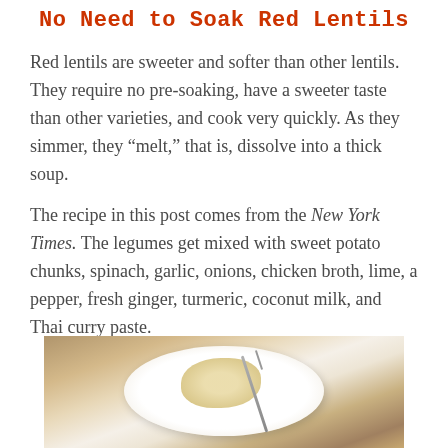No Need to Soak Red Lentils
Red lentils are sweeter and softer than other lentils. They require no pre-soaking, have a sweeter taste than other varieties, and cook very quickly. As they simmer, they “melt,” that is, dissolve into a thick soup.
The recipe in this post comes from the New York Times. The legumes get mixed with sweet potato chunks, spinach, garlic, onions, chicken broth, lime, a pepper, fresh ginger, turmeric, coconut milk, and Thai curry paste.
[Figure (photo): A photo of a white plate with lentil soup and a fork on a wooden surface]